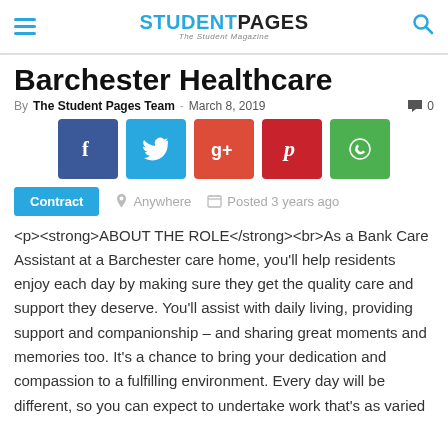STUDENTPAGES The Student Magazine
Barchester Healthcare
By The Student Pages Team - March 8, 2019  0
[Figure (other): Social share buttons: Facebook, Twitter, Google+, Pinterest, WhatsApp]
Contract  Anywhere  Posted 3 years ago
<p><strong>ABOUT THE ROLE</strong><br>As a Bank Care Assistant at a Barchester care home, you'll help residents enjoy each day by making sure they get the quality care and support they deserve. You'll assist with daily living, providing support and companionship – and sharing great moments and memories too. It's a chance to bring your dedication and compassion to a fulfilling environment. Every day will be different, so you can expect to undertake work that's as varied